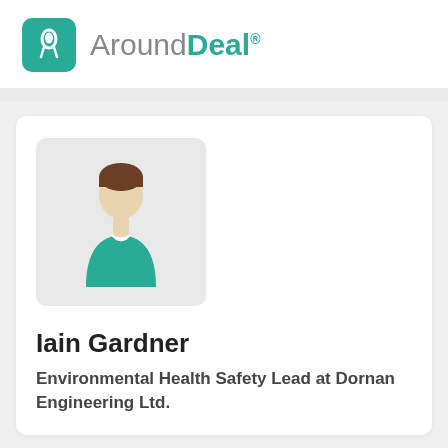[Figure (logo): AroundDeal logo with teal rocket icon and wordmark]
[Figure (illustration): Generic person/avatar placeholder illustration with teal shirt and beige head]
Iain Gardner
Environmental Health Safety Lead at Dornan Engineering Ltd.